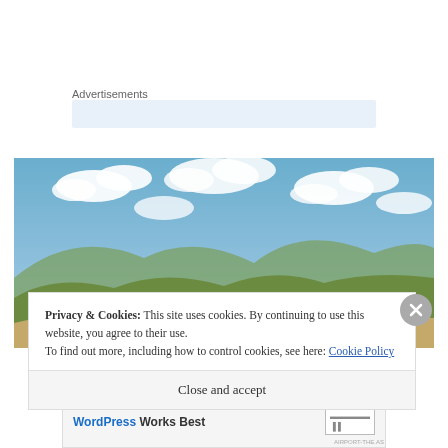Advertisements
[Figure (photo): Person sitting on a hilltop overlooking green mountains under a partly cloudy blue sky]
Privacy & Cookies: This site uses cookies. By continuing to use this website, you agree to their use.
To find out more, including how to control cookies, see here: Cookie Policy
Close and accept
WordPress Works Best